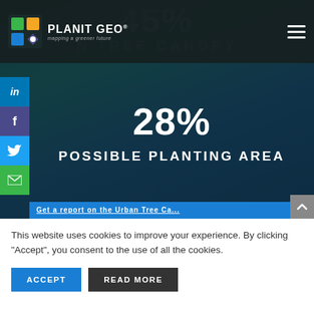[Figure (logo): PlanIt Geo logo with colorful map pin icon and text 'PLANIT GEO mapping a greener future']
[Figure (infographic): Hero section with dark teal aerial tree canopy background showing '45%' and 'N TREE CANOPY' faded behind navbar, and '28% POSSIBLE PLANTING AREA' centered in the hero area, with social share sidebar (LinkedIn, Facebook, Twitter, Email) and a blue bottom bar strip]
This website uses cookies to improve your experience. By clicking “Accept”, you consent to the use of all the cookies.
ACCEPT
READ MORE